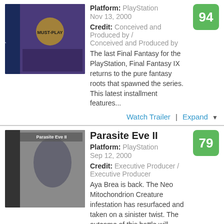Platform: PlayStation
Nov 13, 2000
Credit: Conceived and Produced by / Conceived and Produced by
The last Final Fantasy for the PlayStation, Final Fantasy IX returns to the pure fantasy roots that spawned the series. This latest installment features...
Watch Trailer | Expand
Parasite Eve II
Platform: PlayStation
Sep 12, 2000
Credit: Executive Producer / Executive Producer
Aya Brea is back. The Neo Mitochondrion Creature infestation has resurfaced and taken on a sinister twist. The outcome of this battle will determine earth's...
Watch Trailer | Expand
Chrono Cross
Platform: PlayStation